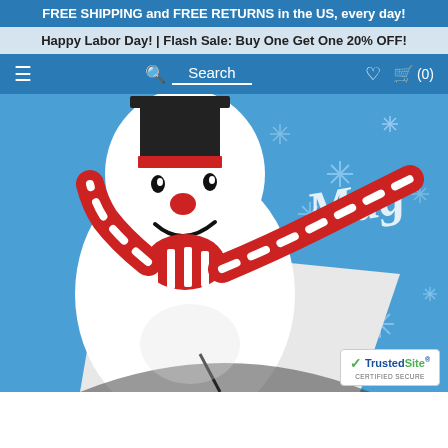FREE SHIPPING and FREE RETURNS in the US, every day!
Happy Labor Day! | Flash Sale: Buy One Get One 20% OFF!
≡  🔍 Search  ♡  🛒 (0)
[Figure (photo): Product photo of Frosty the Snowman novelty boxer shorts. The shorts are shown close-up at an angle. The left portion features a large cartoon snowman face with a black top hat with red ribbon, big round eyes, red button nose, and smile, wearing a red and white striped scarf. The right portion has a bright blue background with light blue snowflake designs and white cursive text reading 'Magic'. A TrustedSite CERTIFIED SECURE badge appears in the lower right corner.]
TrustedSite® CERTIFIED SECURE